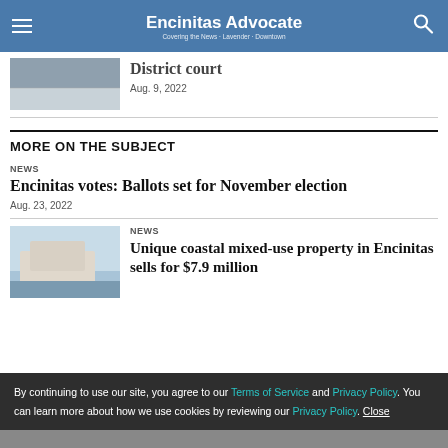Encinitas Advocate
[Figure (photo): Thumbnail photo of a street scene]
Aug. 9, 2022
MORE ON THE SUBJECT
NEWS
Encinitas votes: Ballots set for November election
Aug. 23, 2022
[Figure (photo): Photo of a coastal mixed-use building]
NEWS
Unique coastal mixed-use property in Encinitas sells for $7.9 million
By continuing to use our site, you agree to our Terms of Service and Privacy Policy. You can learn more about how we use cookies by reviewing our Privacy Policy. Close